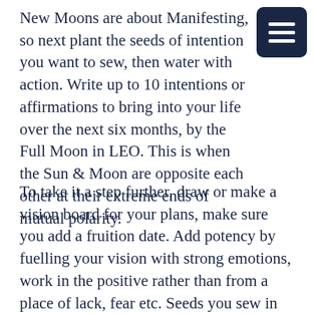New Moons are about Manifesting, so next plant the seeds of intention you want to sew, then water with action. Write up to 10 intentions or affirmations to bring into your life over the next six months, by the Full Moon in LEO. This is when the Sun & Moon are opposite each other at their extreme ends of mutual polarity.
To take it a step further, draw or make a vision board for your plans, make sure you add a fruition date. Add potency by fuelling your vision with strong emotions, work in the positive rather than from a place of lack, fear etc. Seeds you sew in the mix will most likely germinate so make sure you cultivate exactly what you want.